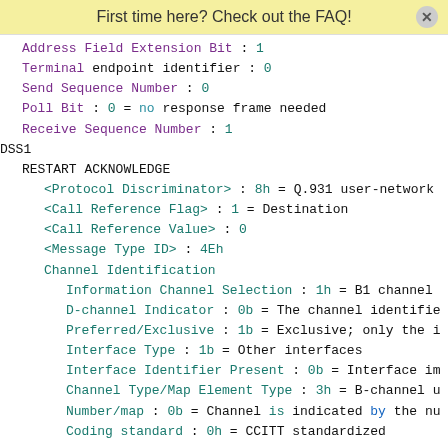First time here? Check out the FAQ!
Address Field Extension Bit : 1
Terminal endpoint identifier : 0
Send Sequence Number : 0
Poll Bit : 0 = no response frame needed
Receive Sequence Number : 1
DSS1
RESTART ACKNOWLEDGE
<Protocol Discriminator> : 8h = Q.931 user-network
<Call Reference Flag> : 1 = Destination
<Call Reference Value> : 0
<Message Type ID> : 4Eh
Channel Identification
Information Channel Selection : 1h = B1 channel
D-channel Indicator : 0b = The channel identified
Preferred/Exclusive : 1b = Exclusive; only the in
Interface Type : 1b = Other interfaces
Interface Identifier Present : 0b = Interface imp
Channel Type/Map Element Type : 3h = B-channel un
Number/map : 0b = Channel is indicated by the num
Coding standard : 0h = CCITT standardized